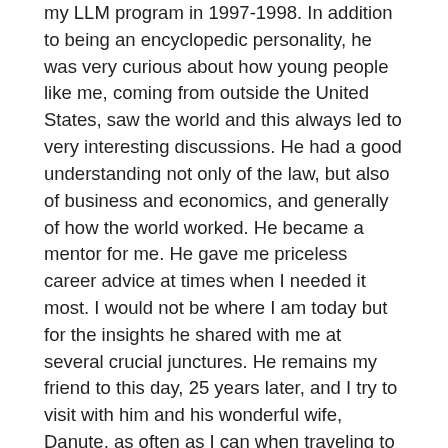my LLM program in 1997-1998. In addition to being an encyclopedic personality, he was very curious about how young people like me, coming from outside the United States, saw the world and this always led to very interesting discussions. He had a good understanding not only of the law, but also of business and economics, and generally of how the world worked. He became a mentor for me. He gave me priceless career advice at times when I needed it most. I would not be where I am today but for the insights he shared with me at several crucial junctures. He remains my friend to this day, 25 years later, and I try to visit with him and his wonderful wife, Danute, as often as I can when traveling to California, where they reside.
Marian Dinu, Country Managing Partner, DLA Piper Romania